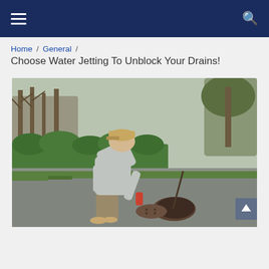Navigation bar with hamburger menu and search icon
Home / General / Choose Water Jetting To Unblock Your Drains!
[Figure (photo): A man wearing a cap, grey sweatshirt, and brown trousers with red gloves, bent over working on an open drain manhole cover on a gravel road, using a metal tool. Background shows green hedges, bare trees, and a road.]